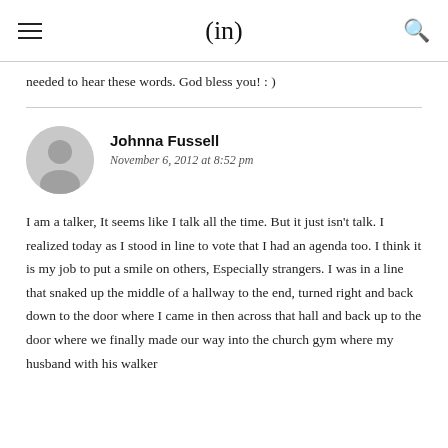(in)
needed to hear these words. God bless you! : )
Johnna Fussell
November 6, 2012 at 8:52 pm
I am a talker, It seems like I talk all the time. But it just isn't talk. I realized today as I stood in line to vote that I had an agenda too. I think it is my job to put a smile on others, Especially strangers. I was in a line that snaked up the middle of a hallway to the end, turned right and back down to the door where I came in then across that hall and back up to the door where we finally made our way into the church gym where my husband with his walker